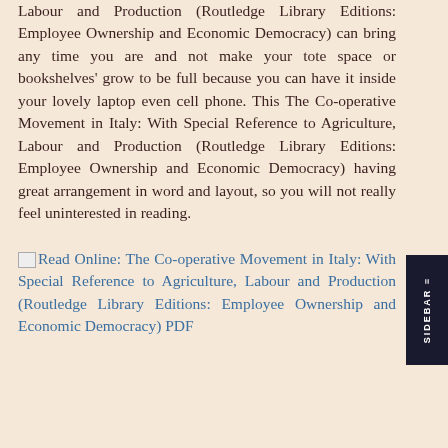Labour and Production (Routledge Library Editions: Employee Ownership and Economic Democracy) can bring any time you are and not make your tote space or bookshelves' grow to be full because you can have it inside your lovely laptop even cell phone. This The Co-operative Movement in Italy: With Special Reference to Agriculture, Labour and Production (Routledge Library Editions: Employee Ownership and Economic Democracy) having great arrangement in word and layout, so you will not really feel uninterested in reading.
Read Online: The Co-operative Movement in Italy: With Special Reference to Agriculture, Labour and Production (Routledge Library Editions: Employee Ownership and Economic Democracy) PDF